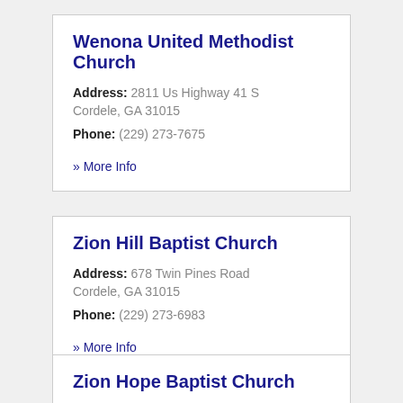Wenona United Methodist Church
Address: 2811 Us Highway 41 S Cordele, GA 31015
Phone: (229) 273-7675
» More Info
Zion Hill Baptist Church
Address: 678 Twin Pines Road Cordele, GA 31015
Phone: (229) 273-6983
» More Info
Zion Hope Baptist Church